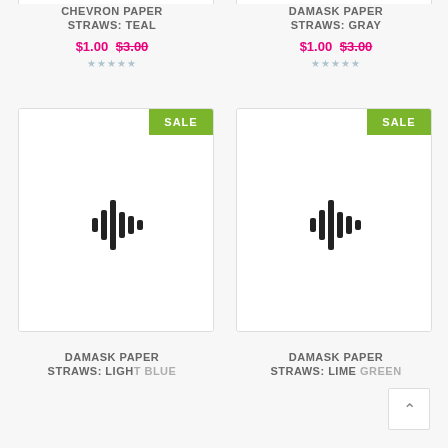CHEVRON PAPER STRAWS: TEAL
$1.00  $3.00
DAMASK PAPER STRAWS: GRAY
$1.00  $3.00
[Figure (photo): Product card with SALE badge and image placeholder icon for Damask Paper Straws Light Blue]
[Figure (photo): Product card with SALE badge and image placeholder icon for Damask Paper Straws Lime Green]
DAMASK PAPER STRAWS: LIGHT BLUE
DAMASK PAPER STRAWS: LIME GREEN